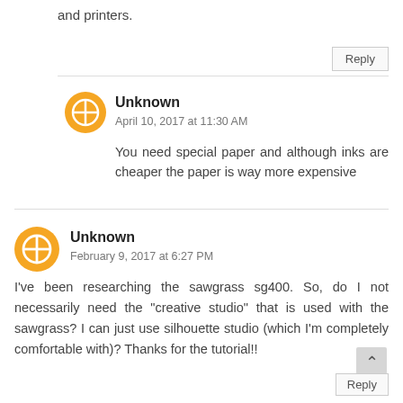and printers.
Reply
Unknown
April 10, 2017 at 11:30 AM
You need special paper and although inks are cheaper the paper is way more expensive
Unknown
February 9, 2017 at 6:27 PM
I've been researching the sawgrass sg400. So, do I not necessarily need the "creative studio" that is used with the sawgrass? I can just use silhouette studio (which I'm completely comfortable with)? Thanks for the tutorial!!